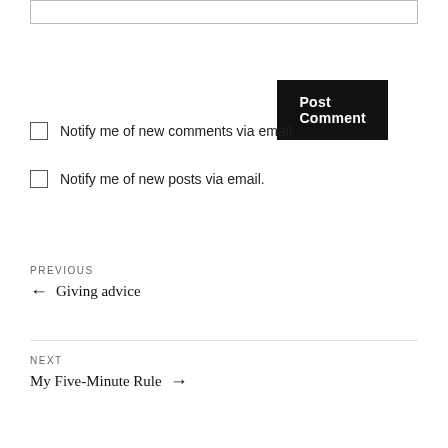[input box]
Post Comment
Notify me of new comments via email.
Notify me of new posts via email.
PREVIOUS
← Giving advice
NEXT
My Five-Minute Rule →